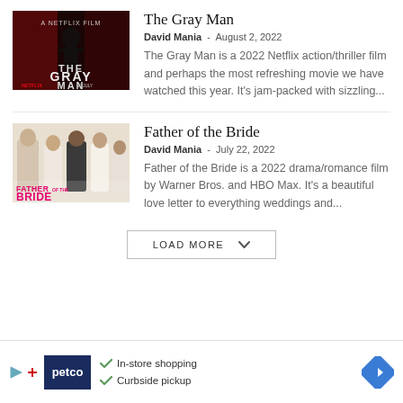[Figure (photo): Movie poster for The Gray Man (Netflix)]
The Gray Man
David Mania  -  August 2, 2022
The Gray Man is a 2022 Netflix action/thriller film and perhaps the most refreshing movie we have watched this year. It's jam-packed with sizzling...
[Figure (photo): Movie poster for Father of the Bride]
Father of the Bride
David Mania  -  July 22, 2022
Father of the Bride is a 2022 drama/romance film by Warner Bros. and HBO Max. It's a beautiful love letter to everything weddings and...
LOAD MORE
[Figure (advertisement): Petco advertisement with In-store shopping and Curbside pickup]